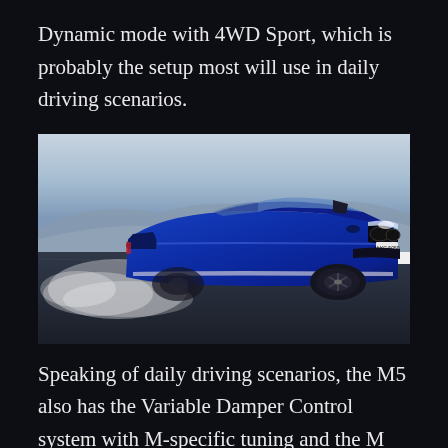Dynamic mode with 4WD Sport, which is probably the setup most will use in daily driving scenarios.
[Figure (photo): Blue BMW M5 drifting on a racing track, rear wheels spinning with tire smoke, shot from front-side angle on a circuit with red and white curbing visible. License plate M-KC 5050.]
Speaking of daily driving scenarios, the M5 also has the Variable Damper Control system with M-specific tuning and the M Servotronic steering. It is of